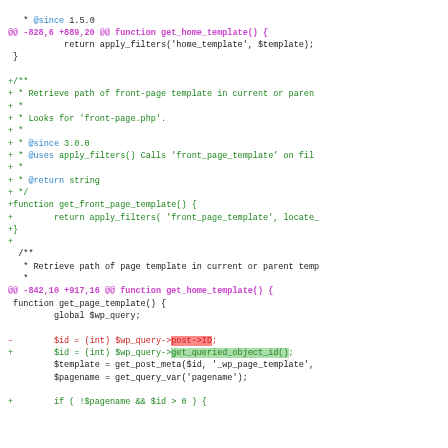Code diff showing PHP template functions including get_front_page_template and get_page_template with diff markers for added/removed lines